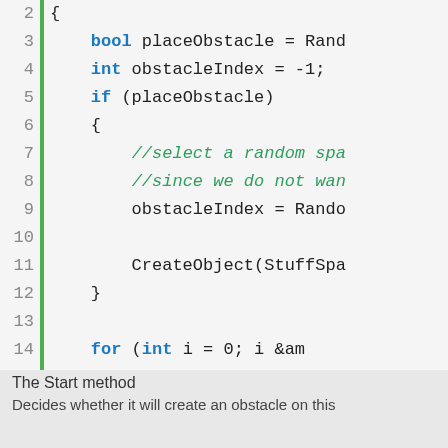[Figure (screenshot): Code editor screenshot showing lines 2-24 of C# code with green vertical bar, line numbers, syntax highlighting (blue keywords, green comments, dark code)]
The Start method
Decides whether it will create an obstacle on this